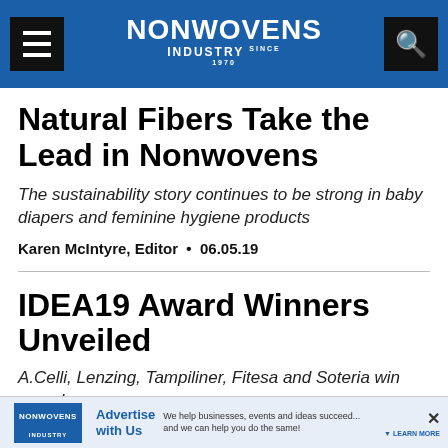NONWOVENS INDUSTRY
Natural Fibers Take the Lead in Nonwovens
The sustainability story continues to be strong in baby diapers and feminine hygiene products
Karen McIntyre, Editor  •  06.05.19
IDEA19 Award Winners Unveiled
A.Celli, Lenzing, Tampiliner, Fitesa and Soteria win awards
03.27.19
[Figure (screenshot): Advertisement banner for Nonwovens Industry: Advertise with Us — We help businesses, events and ideas succeed... and we can help you do the same!]